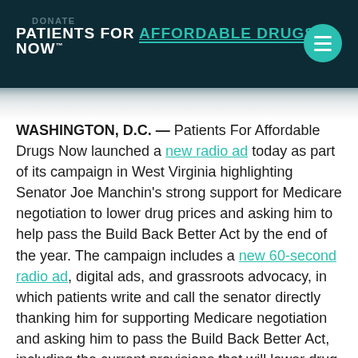DONATE
[Figure (logo): Patients For Affordable Drugs Now logo with teal menu button]
WASHINGTON, D.C. — Patients For Affordable Drugs Now launched a new radio ad today as part of its campaign in West Virginia highlighting Senator Joe Manchin's strong support for Medicare negotiation to lower drug prices and asking him to help pass the Build Back Better Act by the end of the year. The campaign includes a new 60-second radio ad, digital ads, and grassroots advocacy, in which patients write and call the senator directly thanking him for supporting Medicare negotiation and asking him to pass the Build Back Better Act, including the current provisions that will lower drug prices for West Virginians.